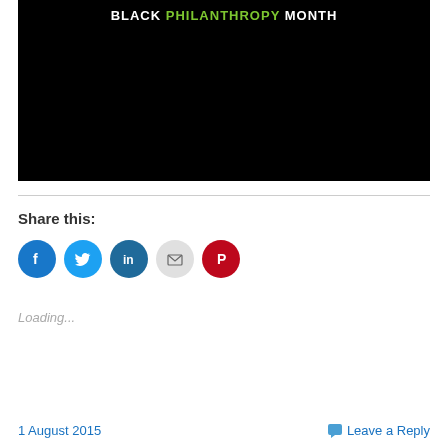[Figure (illustration): Black background image with text 'BLACK PHILANTHROPY MONTH' at the top, where PHILANTHROPY is in green and the rest is white.]
Share this:
[Figure (infographic): Row of social media share icon circles: Facebook (blue), Twitter (light blue), LinkedIn (dark blue), Email (gray), Pinterest (red)]
Loading...
1 August 2015   Leave a Reply